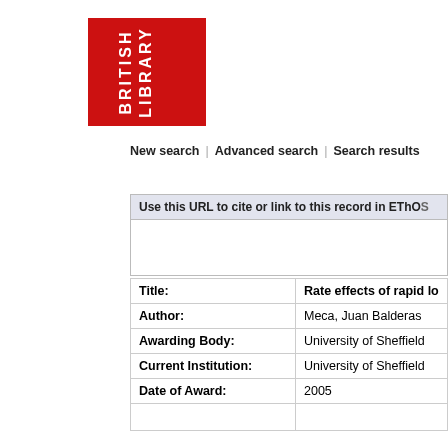[Figure (logo): British Library logo — red rectangle with white rotated text reading BRITISH LIBRARY]
New search | Advanced search | Search results
Use this URL to cite or link to this record in EThOS:
|  |  |
| --- | --- |
| Title: | Rate effects of rapid lo... |
| Author: | Meca, Juan Balderas |
| Awarding Body: | University of Sheffield |
| Current Institution: | University of Sheffield |
| Date of Award: | 2005 |